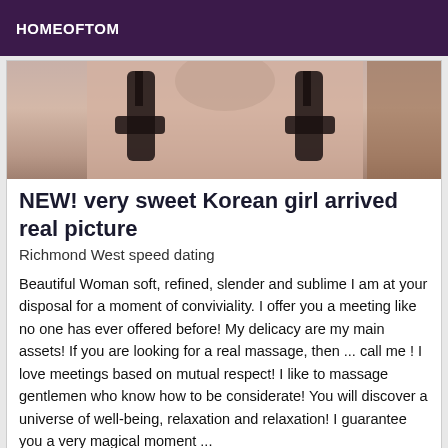HOMEOFTOM
[Figure (photo): Close-up photo showing legs wearing black stockings/lingerie]
NEW! very sweet Korean girl arrived real picture
Richmond West speed dating
Beautiful Woman soft, refined, slender and sublime I am at your disposal for a moment of conviviality. I offer you a meeting like no one has ever offered before! My delicacy are my main assets! If you are looking for a real massage, then ... call me ! I love meetings based on mutual respect! I like to massage gentlemen who know how to be considerate! You will discover a universe of well-being, relaxation and relaxation! I guarantee you a very magical moment ...
[Figure (photo): Partial view of a person, colorful image at bottom of page]